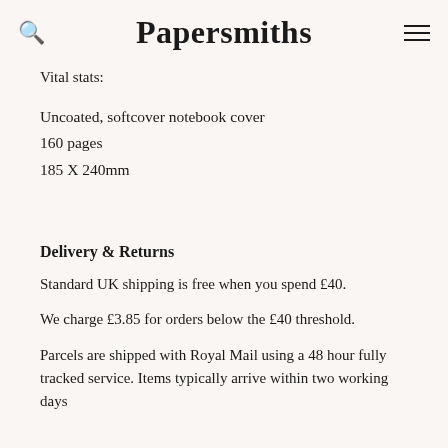Papersmiths
Vital stats:
Uncoated, softcover notebook cover
160 pages
185 X 240mm
Delivery & Returns
Standard UK shipping is free when you spend £40.
We charge £3.85 for orders below the £40 threshold.
Parcels are shipped with Royal Mail using a 48 hour fully tracked service. Items typically arrive within two working days